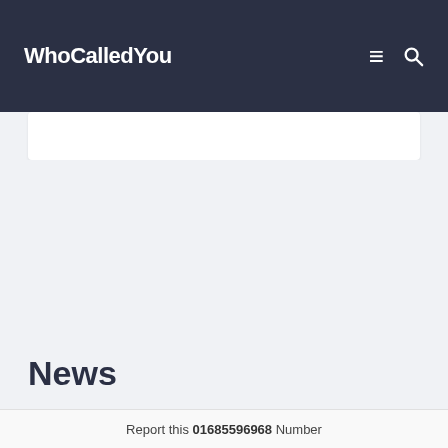WhoCalledYou
News
Report this 01685596968 Number